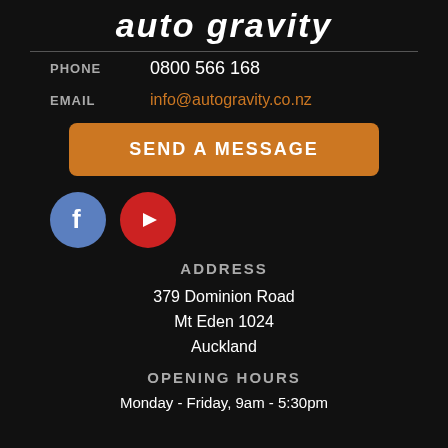auto gravity
PHONE   0800 566 168
EMAIL   info@autogravity.co.nz
SEND A MESSAGE
[Figure (logo): Facebook logo circle (blue) and YouTube play button circle (red)]
ADDRESS
379 Dominion Road
Mt Eden 1024
Auckland
OPENING HOURS
Monday - Friday, 9am - 5:30pm